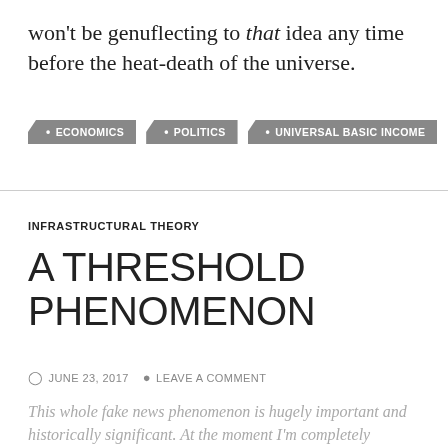won't be genuflecting to that idea any time before the heat-death of the universe.
ECONOMICS
POLITICS
UNIVERSAL BASIC INCOME
INFRASTRUCTURAL THEORY
A THRESHOLD PHENOMENON
JUNE 23, 2017   LEAVE A COMMENT
This whole fake news phenomenon is hugely important and historically significant. At the moment I'm completely captivated by the strength of an analogy between the